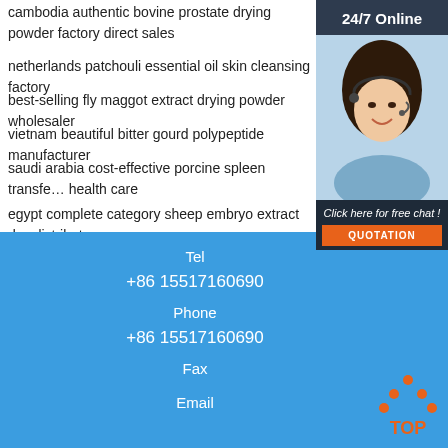cambodia authentic bovine prostate drying powder factory direct sales
netherlands patchouli essential oil skin cleansing factory
best-selling fly maggot extract drying powder wholesaler
vietnam beautiful bitter gourd polypeptide manufacturer
saudi arabia cost-effective porcine spleen transfer factor health care
egypt complete category sheep embryo extract distributor
[Figure (photo): Customer service representative woman with headset, with 24/7 Online header, Click here for free chat text, and QUOTATION button]
Tel
+86 15517160690
Phone
+86 15517160690
Fax
Email
[Figure (logo): TOP button with orange dots forming triangle above orange TOP text on blue background]